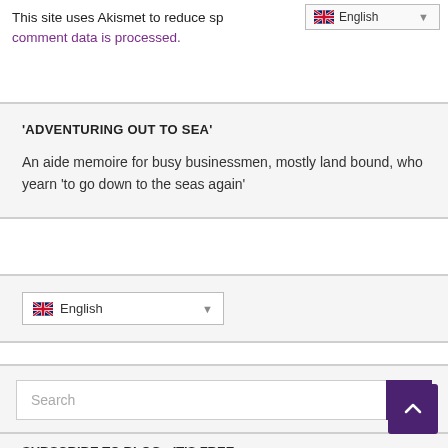This site uses Akismet to reduce sp… comment data is processed.
[Figure (screenshot): Language selector dropdown showing UK flag and 'English' label in top-right corner]
'ADVENTURING OUT TO SEA'
An aide memoire for busy businessmen, mostly land bound, who yearn 'to go down to the seas again'
[Figure (screenshot): Language selector widget with UK flag and 'English' text with dropdown arrow]
[Figure (screenshot): Search bar with text input and purple search button with magnifying glass icon]
SUBSCRIBE TO BLOG - IT'S FREE
Enter your email address to subscribe to this blog and receive